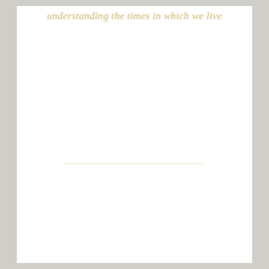understanding the times in which we live